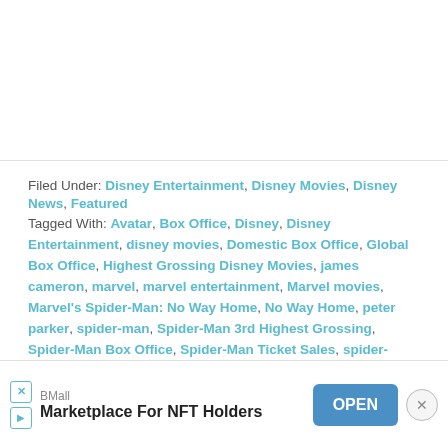Filed Under: Disney Entertainment, Disney Movies, Disney News, Featured
Tagged With: Avatar, Box Office, Disney, Disney Entertainment, disney movies, Domestic Box Office, Global Box Office, Highest Grossing Disney Movies, james cameron, marvel, marvel entertainment, Marvel movies, Marvel's Spider-Man: No Way Home, No Way Home, peter parker, spider-man, Spider-Man 3rd Highest Grossing, Spider-Man Box Office, Spider-Man Ticket Sales, spider-man: no way home, ticket sales
« NEWS: Mask Mandate SUSPENDED In Most Disney World Locations
[Figure (other): Advertisement banner for BMall: Marketplace For NFT Holders with an OPEN button and close (X) button]